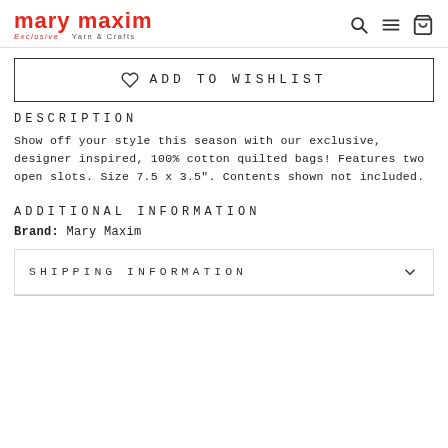mary maxim – Exclusive Yarn & Crafts
ADD TO WISHLIST
DESCRIPTION
Show off your style this season with our exclusive, designer inspired, 100% cotton quilted bags! Features two open slots. Size 7.5 x 3.5". Contents shown not included.
ADDITIONAL INFORMATION
Brand: Mary Maxim
SHIPPING INFORMATION